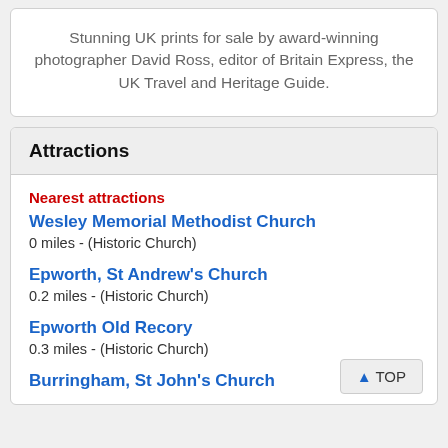Stunning UK prints for sale by award-winning photographer David Ross, editor of Britain Express, the UK Travel and Heritage Guide.
Attractions
Nearest attractions
Wesley Memorial Methodist Church
0 miles - (Historic Church)
Epworth, St Andrew's Church
0.2 miles - (Historic Church)
Epworth Old Recory
0.3 miles - (Historic Church)
Burringham, St John's Church